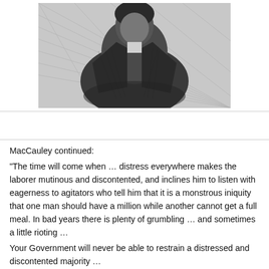[Figure (photo): Black and white engraving/portrait of a man in a suit jacket, historical figure, upper body visible, dark background with cross-hatching style illustration]
MacCauley continued:
"The time will come when … distress everywhere makes the laborer mutinous and discontented, and inclines him to listen with eagerness to agitators who tell him that it is a monstrous iniquity that one man should have a million while another cannot get a full meal. In bad years there is plenty of grumbling … and sometimes a little rioting …
Your Government will never be able to restrain a distressed and discontented majority …